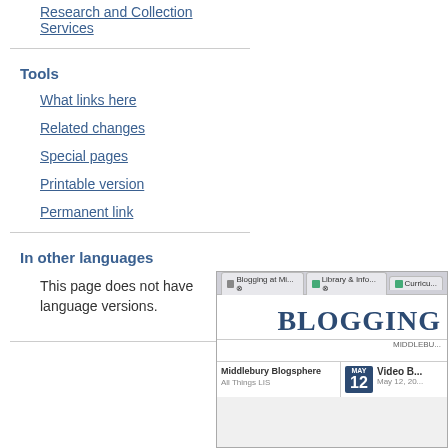Research and Collection Services
Tools
What links here
Related changes
Special pages
Printable version
Permanent link
In other languages
This page does not have language versions.
[Figure (screenshot): Screenshot of a browser showing a website titled 'BLOGGING' (Middlebury Blogsphere) with browser tabs including 'Blogging at Mi...', 'Library & Info...', and 'Curricu...'. The page shows a calendar date of May 12 and a post beginning with 'Video' and 'All Things LIS' sidebar item.]